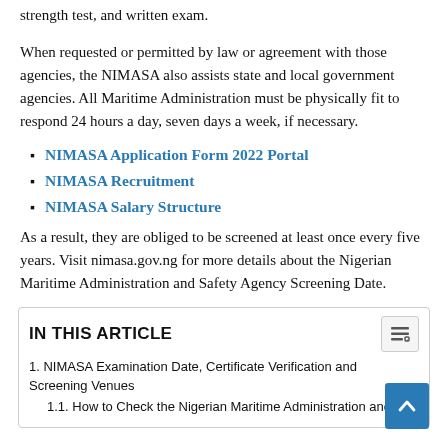strength test, and written exam.
When requested or permitted by law or agreement with those agencies, the NIMASA also assists state and local government agencies. All Maritime Administration must be physically fit to respond 24 hours a day, seven days a week, if necessary.
NIMASA Application Form 2022 Portal
NIMASA Recruitment
NIMASA Salary Structure
As a result, they are obliged to be screened at least once every five years. Visit nimasa.gov.ng for more details about the Nigerian Maritime Administration and Safety Agency Screening Date.
IN THIS ARTICLE
1. NIMASA Examination Date, Certificate Verification and Screening Venues
1.1. How to Check the Nigerian Maritime Administration and